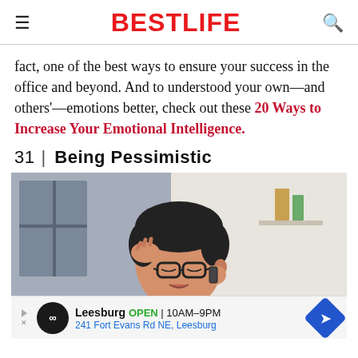BESTLIFE
fact, one of the best ways to ensure your success in the office and beyond. And to understood your own—and others'—emotions better, check out these 20 Ways to Increase Your Emotional Intelligence.
31 | Being Pessimistic
[Figure (photo): Man wearing glasses holding his head with both hands in apparent stress or distress, sitting in an office environment. There is an advertisement overlay at the bottom showing Leesburg store, OPEN 10AM-9PM, 241 Fort Evans Rd NE, Leesburg.]